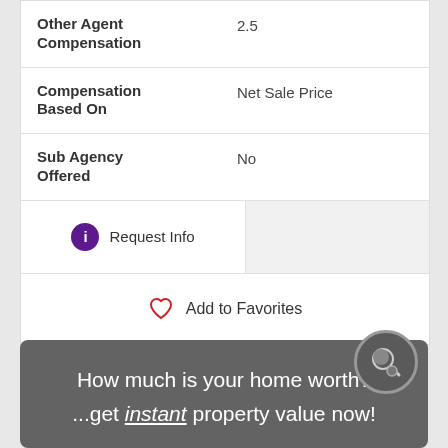| Field | Value |
| --- | --- |
| Other Agent Compensation | 2.5 |
| Compensation Based On | Net Sale Price |
| Sub Agency Offered | No |
Request Info
Add to Favorites
How much is your home worth? ...get instant property value now!